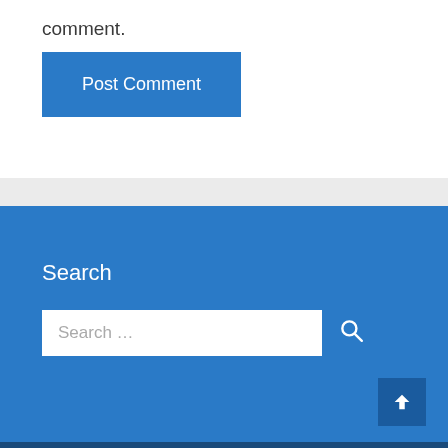comment.
Post Comment
Search
Search …